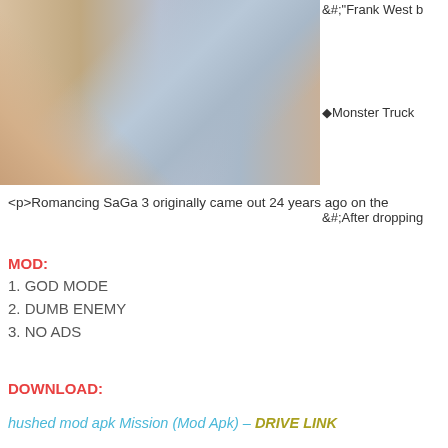[Figure (illustration): Partial view of a colorful game screenshot or illustration showing animated characters with weapons, cropped at the page edge]
&#;"Frank West b
◆Monster Truck
&#;After dropping
<p>Romancing SaGa 3 originally came out 24 years ago on the
MOD:
1. GOD MODE
2. DUMB ENEMY
3. NO ADS
DOWNLOAD:
hushed mod apk Mission (Mod Apk) – DRIVE LINK